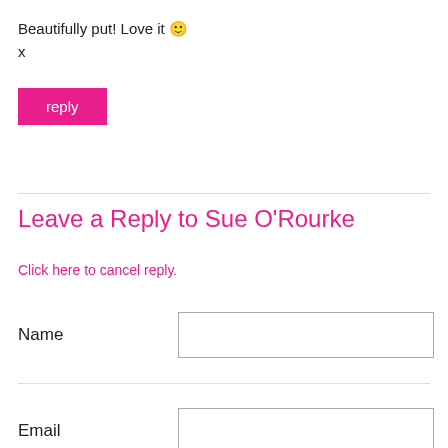Beautifully put! Love it 🙂
x
reply
Leave a Reply to Sue O'Rourke
Click here to cancel reply.
Name
Email